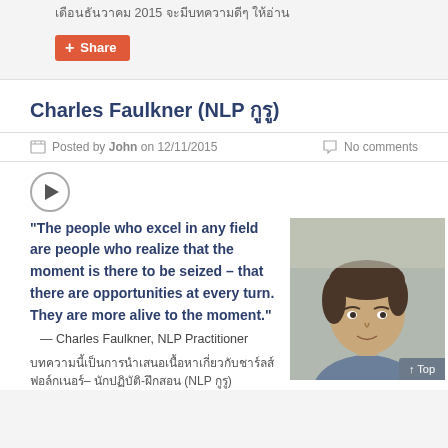เดือนธันวาคม 2015 จะมีบทความดีๆ ให้อ่าน
[Figure (other): Share button (red/orange) with plus icon]
Charles Faulkner (NLP กูรู)
Posted by John on 12/11/2015   No comments
[Figure (other): Play button circle icon]
“The people who excel in any field are people who realize that the moment is there to be seized – that there are opportunities at every turn. They are more alive to the moment.”
— Charles Faulkner, NLP Practitioner
[Figure (photo): Photo of Charles Faulkner, a middle-aged man with brown hair wearing a grey shirt]
บทความนี้เป็นการนำเสนอเนื้อหาเกี่ยวกับชาร์ลส์ ฟอล์กเนอร์– นักปฏิบัติ-ฝึกสอน (NLP กูรู)